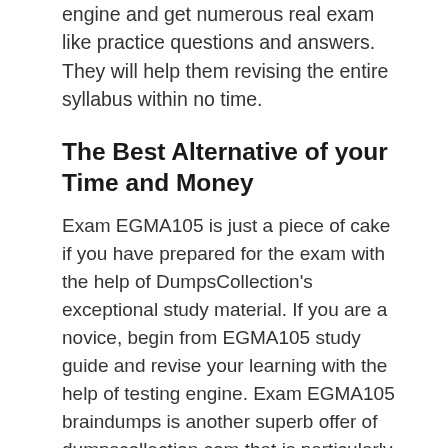engine and get numerous real exam like practice questions and answers. They will help them revising the entire syllabus within no time.
The Best Alternative of your Time and Money
Exam EGMA105 is just a piece of cake if you have prepared for the exam with the help of DumpsCollection's exceptional study material. If you are a novice, begin from EGMA105 study guide and revise your learning with the help of testing engine. Exam EGMA105 braindumps is another superb offer of dumpscollection.com that is particularly helpful for those who